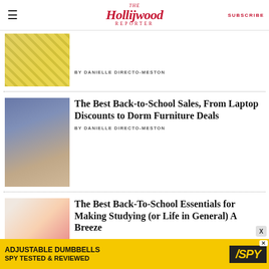The Hollywood Reporter | SUBSCRIBE
BY DANIELLE DIRECTO-MESTON
The Best Back-to-School Sales, From Laptop Discounts to Dorm Furniture Deals
BY DANIELLE DIRECTO-MESTON
The Best Back-To-School Essentials for Making Studying (or Life in General) A Breeze
BY NICOLE CHARKY-CHAMI
[Figure (photo): Advertisement banner for Adjustable Dumbbells by SPY, yellow background with bold black text and SPY logo]
ADJUSTABLE DUMBBELLS SPY TESTED & REVIEWED